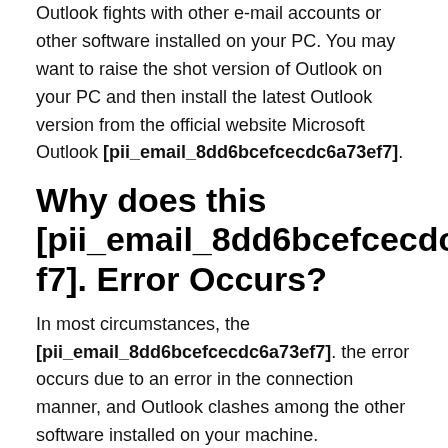Outlook fights with other e-mail accounts or other software installed on your PC. You may want to raise the shot version of Outlook on your PC and then install the latest Outlook version from the official website Microsoft Outlook [pii_email_8dd6bcefcecdc6a73ef7].
Why does this [pii_email_8dd6bcefcecdc6a73ef7]. Error Occurs?
In most circumstances, the [pii_email_8dd6bcefcecdc6a73ef7]. the error occurs due to an error in the connection manner, and Outlook clashes among the other software installed on your machine. Additionally, in any case, there may be